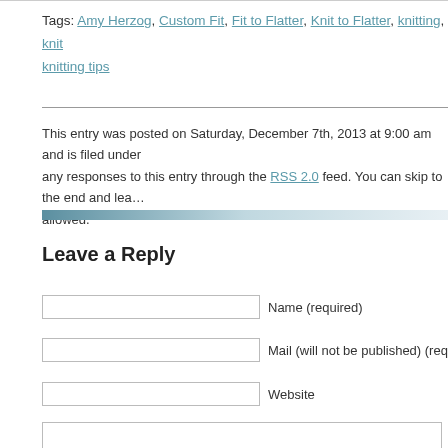Tags: Amy Herzog, Custom Fit, Fit to Flatter, Knit to Flatter, knitting, knit… knitting tips
This entry was posted on Saturday, December 7th, 2013 at 9:00 am and is filed under… any responses to this entry through the RSS 2.0 feed. You can skip to the end and lea… allowed.
Leave a Reply
Name (required)
Mail (will not be published) (required)
Website